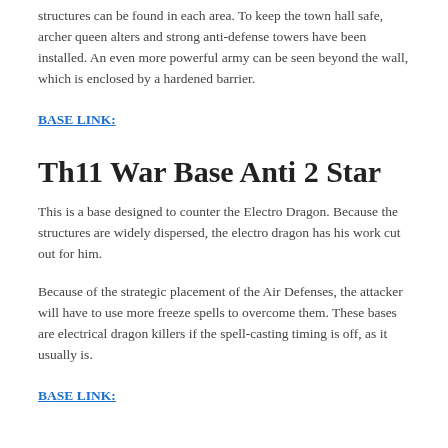structures can be found in each area. To keep the town hall safe, archer queen alters and strong anti-defense towers have been installed. An even more powerful army can be seen beyond the wall, which is enclosed by a hardened barrier.
BASE LINK:
Th11 War Base Anti 2 Star
This is a base designed to counter the Electro Dragon. Because the structures are widely dispersed, the electro dragon has his work cut out for him.
Because of the strategic placement of the Air Defenses, the attacker will have to use more freeze spells to overcome them. These bases are electrical dragon killers if the spell-casting timing is off, as it usually is.
BASE LINK: